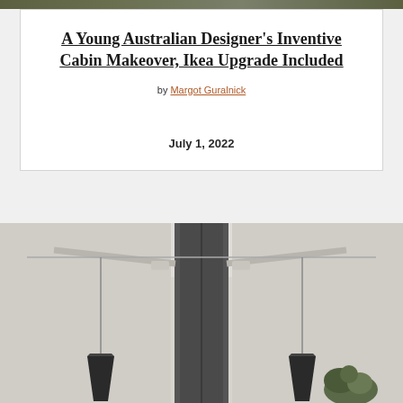[Figure (photo): Top strip of an outdoor/nature photo barely visible at the top of the page]
A Young Australian Designer’s Inventive Cabin Makeover, Ikea Upgrade Included
by Margot Guralnick
July 1, 2022
[Figure (photo): Interior room photo showing a white-painted cabin room with exposed beam ceiling, a tall dark grey/charcoal central architectural panel or door, pendant lights hanging from wires on either side, and a small plant visible in the lower right. The walls and ceiling are white with exposed wooden beams.]